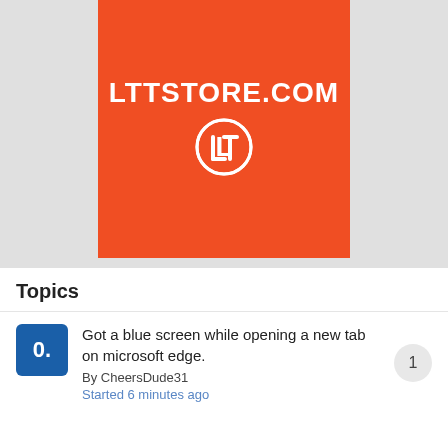[Figure (logo): LTTSTORE.COM logo on orange background with LTT circular icon below the text]
Topics
Got a blue screen while opening a new tab on microsoft edge.
By CheersDude31
Started 6 minutes ago